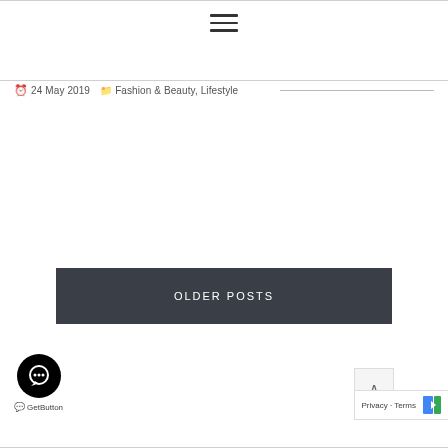≡ (hamburger menu icon)
24 May 2019  Fashion & Beauty, Lifestyle
OLDER POSTS
[Figure (other): Chat widget circle button with speech bubble icon (GetButton)]
GetButton
Privacy · Terms